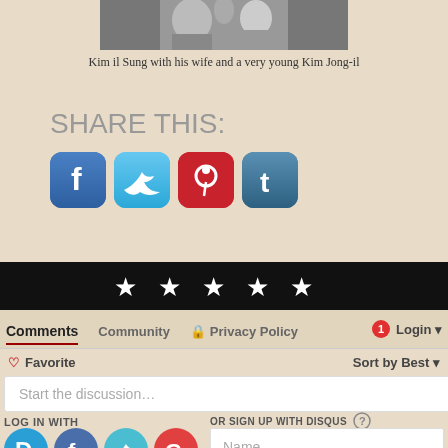[Figure (photo): Black and white photo of Kim il Sung with his wife and a very young Kim Jong-il (partial, cropped)]
Kim il Sung with his wife and a very young Kim Jong-il
SHARE THIS:
[Figure (infographic): Social media sharing icons: Facebook (blue), Twitter (cyan), Pinterest (red), Tumblr (dark blue)]
[Figure (infographic): Black bar with five white stars rating display]
Comments   Community   Privacy Policy   Login
Favorite   Sort by Best
Start the discussion…
LOG IN WITH
OR SIGN UP WITH DISQUS
[Figure (infographic): Login icons: Disqus (blue D), Facebook (dark blue f), Twitter (cyan bird), Google (red G)]
Name